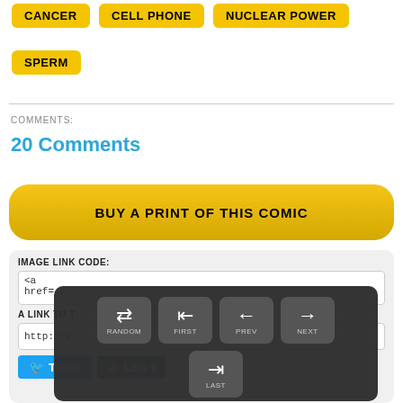CANCER
CELL PHONE
NUCLEAR POWER
SPERM
COMMENTS:
20 Comments
BUY A PRINT OF THIS COMIC
IMAGE LINK CODE:
<a
href=...
A LINK TO T...
http://w... em-3
[Figure (screenshot): Navigation overlay with buttons: RANDOM, FIRST, PREV, NEXT, LAST (with arrow icons) on a dark background]
Tweet
Like 1